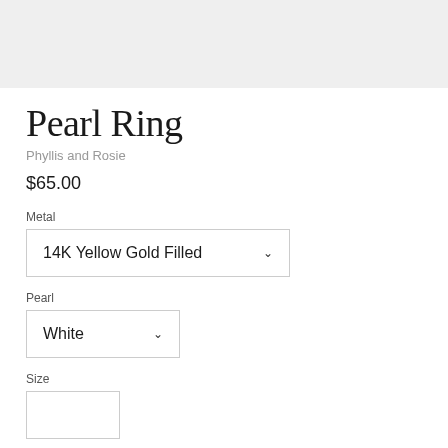[Figure (photo): Product image placeholder — light gray rectangle representing a pearl ring photo]
Pearl Ring
Phyllis and Rosie
$65.00
Metal
14K Yellow Gold Filled
Pearl
White
Size